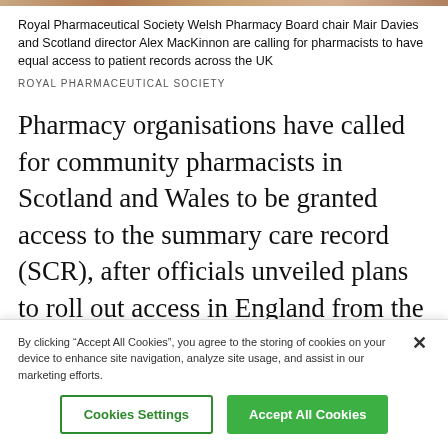[Figure (photo): Narrow horizontal image strip at top of page showing two people, partially cropped]
Royal Pharmaceutical Society Welsh Pharmacy Board chair Mair Davies and Scotland director Alex MacKinnon are calling for pharmacists to have equal access to patient records across the UK
ROYAL PHARMACEUTICAL SOCIETY
Pharmacy organisations have called for community pharmacists in Scotland and Wales to be granted access to the summary care record (SCR), after officials unveiled plans to roll out access in England from the autumn.
By clicking “Accept All Cookies”, you agree to the storing of cookies on your device to enhance site navigation, analyze site usage, and assist in our marketing efforts.